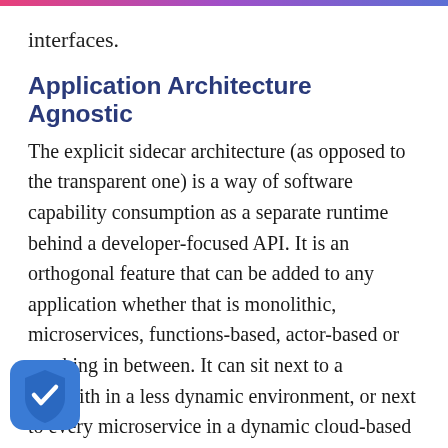interfaces.
Application Architecture Agnostic
The explicit sidecar architecture (as opposed to the transparent one) is a way of software capability consumption as a separate runtime behind a developer-focused API. It is an orthogonal feature that can be added to any application whether that is monolithic, microservices, functions-based, actor-based or anything in between. It can sit next to a monolith in a less dynamic environment, or next to every microservice in a dynamic cloud-based environment. It is trivial to create sidecars on Kubernetes, and doable on many other software orchestration platforms too.
[Figure (logo): Blue shield icon with white checkmark]